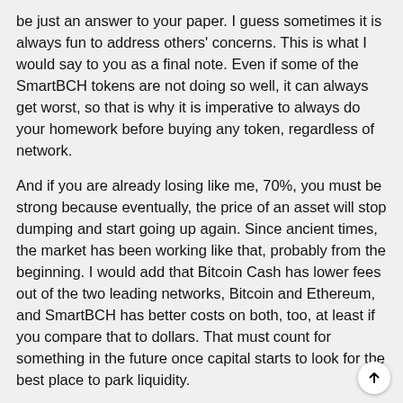be just an answer to your paper. I guess sometimes it is always fun to address others' concerns. This is what I would say to you as a final note. Even if some of the SmartBCH tokens are not doing so well, it can always get worst, so that is why it is imperative to always do your homework before buying any token, regardless of network.
And if you are already losing like me, 70%, you must be strong because eventually, the price of an asset will stop dumping and start going up again. Since ancient times, the market has been working like that, probably from the beginning. I would add that Bitcoin Cash has lower fees out of the two leading networks, Bitcoin and Ethereum, and SmartBCH has better costs on both, too, at least if you compare that to dollars. That must count for something in the future once capital starts to look for the best place to park liquidity.
And I will repeat, be strong because when the market